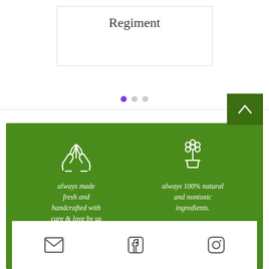Regiment
[Figure (other): Carousel navigation dots: one purple active dot and two grey inactive dots]
[Figure (infographic): Green banner with four icons and text: 1) hands holding plants icon with text 'always made fresh and handcrafted with care & love by us'; 2) potted flower icon with text 'always 100% natural and nontoxic ingredients.'; 3) delivery truck icon with partial text 'shipping on'; 4) globe leaf icon with partial text 'cruelty-free'. Footer bar with email, Facebook, and Instagram icons.]